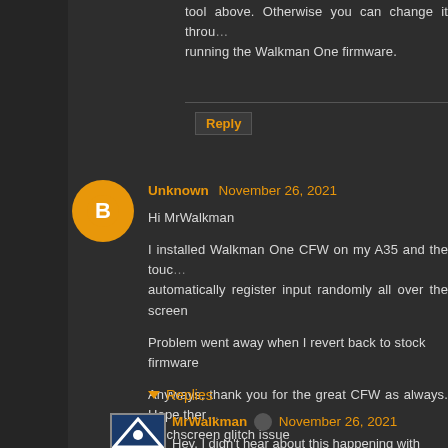tool above. Otherwise you can change it through running the Walkman One firmware.
Reply
Unknown November 26, 2021
Hi MrWalkman

I installed Walkman One CFW on my A35 and the touchscreen automatically register input randomly all over the screen

Problem went away when I revert back to stock firmware

Anyways, thank you for the great CFW as always. Hope there is a fix for the touchscreen glitch issue

Best regards
Reply
Replies
MrWalkman November 26, 2021
Hey, I didn't hear about this happening with other